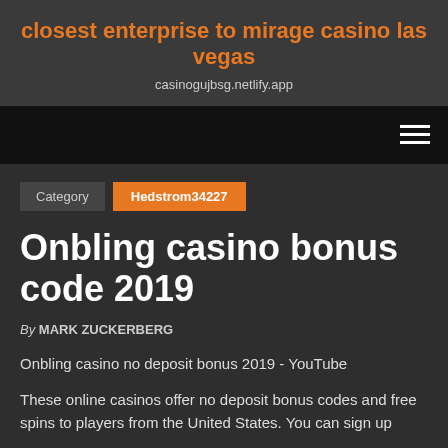closest enterprise to mirage casino las vegas
casinogujbsg.netlify.app
Category  Hedstrom34227
Onbling casino bonus code 2019
By MARK ZUCKERBERG
Onbling casino no deposit bonus 2019 - YouTube
These online casinos offer no deposit bonus codes and free spins to players from the United States. You can sign up